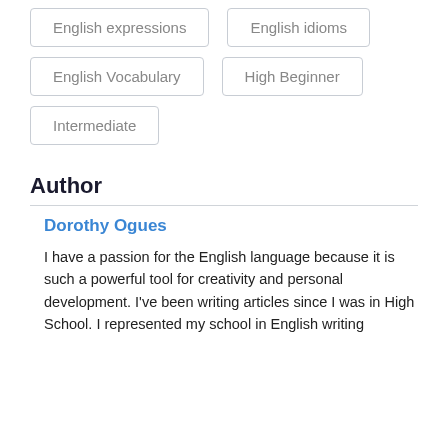English expressions
English idioms
English Vocabulary
High Beginner
Intermediate
Author
Dorothy Ogues
I have a passion for the English language because it is such a powerful tool for creativity and personal development. I've been writing articles since I was in High School. I represented my school in English writing